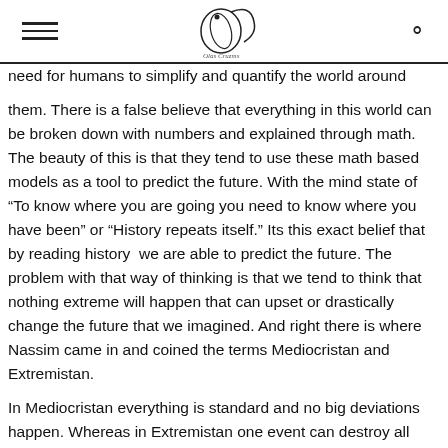[Logo: Olas Cruzms] [hamburger menu] [search icon]
need for humans to simplify and quantify the world around them. There is a false believe that everything in this world can be broken down with numbers and explained through math. The beauty of this is that they tend to use these math based models as a tool to predict the future. With the mind state of “To know where you are going you need to know where you have been” or “History repeats itself.” Its this exact belief that by reading history  we are able to predict the future. The problem with that way of thinking is that we tend to think that nothing extreme will happen that can upset or drastically change the future that we imagined. And right there is where Nassim came in and coined the terms Mediocristan and Extremistan.
In Mediocristan everything is standard and no big deviations happen. Whereas in Extremistan one event can destroy all